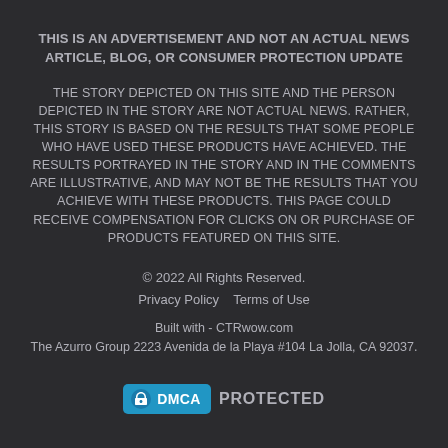THIS IS AN ADVERTISEMENT AND NOT AN ACTUAL NEWS ARTICLE, BLOG, OR CONSUMER PROTECTION UPDATE
THE STORY DEPICTED ON THIS SITE AND THE PERSON DEPICTED IN THE STORY ARE NOT ACTUAL NEWS. RATHER, THIS STORY IS BASED ON THE RESULTS THAT SOME PEOPLE WHO HAVE USED THESE PRODUCTS HAVE ACHIEVED. THE RESULTS PORTRAYED IN THE STORY AND IN THE COMMENTS ARE ILLUSTRATIVE, AND MAY NOT BE THE RESULTS THAT YOU ACHIEVE WITH THESE PRODUCTS. THIS PAGE COULD RECEIVE COMPENSATION FOR CLICKS ON OR PURCHASE OF PRODUCTS FEATURED ON THIS SITE.
© 2022 All Rights Reserved.
Privacy Policy    Terms of Use
Built with - CTRwow.com
The Azurro Group 2223 Avenida de la Playa #104 La Jolla, CA 92037.
[Figure (logo): DMCA PROTECTED badge with lock icon on blue background]